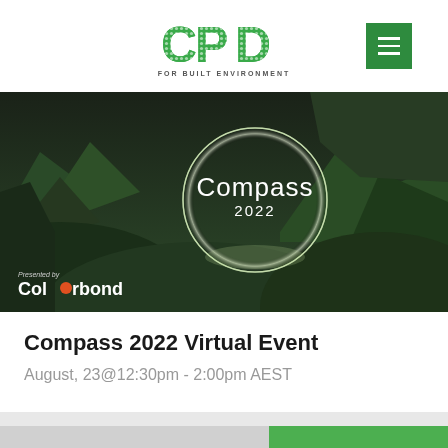[Figure (logo): CPD for Built Environment logo with dotted green letters C, P, D and tagline FOR BUILT ENVIRONMENT, plus a green menu button with hamburger lines]
[Figure (photo): Compass 2022 virtual event banner image showing green mountain landscape with glowing circle overlay containing text 'Compass 2022', and 'Presented by Colorbond' in bottom left]
Compass 2022 Virtual Event
August, 23@12:30pm - 2:00pm AEST